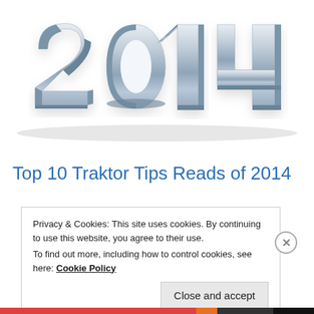[Figure (illustration): 3D metallic chrome letters spelling '2014' on a white background, with a slight shadow beneath]
Top 10 Traktor Tips Reads of 2014
Privacy & Cookies: This site uses cookies. By continuing to use this website, you agree to their use.
To find out more, including how to control cookies, see here: Cookie Policy
Close and accept